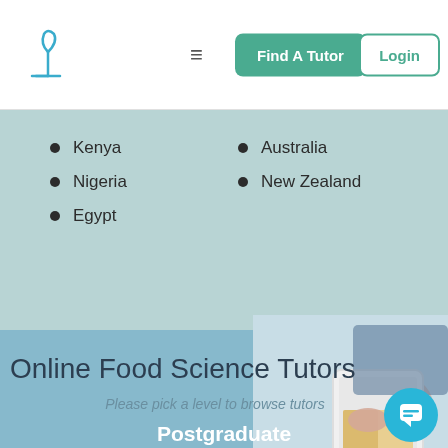Logo | ≡ | Find A Tutor | Login
Kenya
Nigeria
Egypt
Australia
New Zealand
[Figure (screenshot): Background scene with person using tablet/laptop device]
Online Food Science Tutors
Please pick a level to browse tutors
Postgraduate